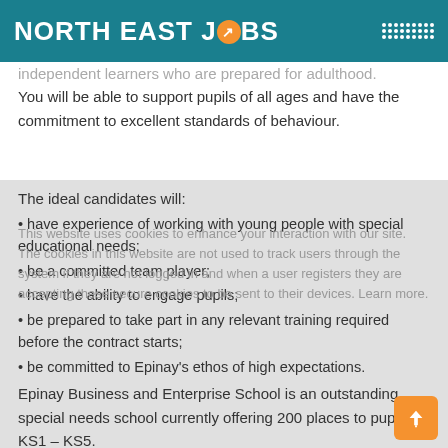NORTH EAST JOBS
independent learners who are prepared for adulthood. You will be able to support pupils of all ages and have the commitment to excellent standards of behaviour.
The ideal candidates will:
have experience of working with young people with special educational needs;
be a committed team player;
have the ability to engage pupils;
be prepared to take part in any relevant training required before the contract starts;
be committed to Epinay's ethos of high expectations.
Epinay Business and Enterprise School is an outstanding special needs school currently offering 200 places to pupils in KS1 – KS5.